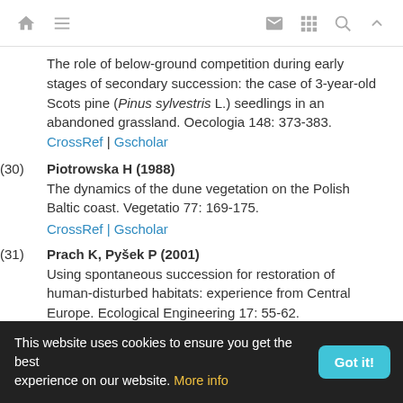[navigation icons: home, menu, mail, grid, search, up]
The role of below-ground competition during early stages of secondary succession: the case of 3-year-old Scots pine (Pinus sylvestris L.) seedlings in an abandoned grassland. Oecologia 148: 373-383. CrossRef | Gscholar
(30) Piotrowska H (1988) The dynamics of the dune vegetation on the Polish Baltic coast. Vegetatio 77: 169-175. CrossRef | Gscholar
(31) Prach K, Pyšek P (2001) Using spontaneous succession for restoration of human-disturbed habitats: experience from Central Europe. Ecological Engineering 17: 55-62.
This website uses cookies to ensure you get the best experience on our website. More info